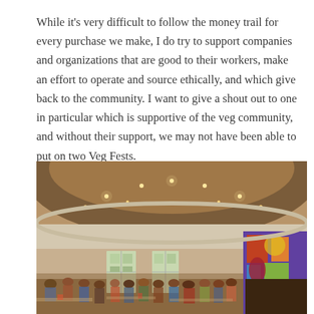While it's very difficult to follow the money trail for every purchase we make, I do try to support companies and organizations that are good to their workers, make an effort to operate and source ethically, and which give back to the community. I want to give a shout out to one in particular which is supportive of the veg community, and without their support, we may not have been able to put on two Veg Fests.
[Figure (photo): Interior of a large hall with a rounded ceiling, recessed lighting, tall windows along the walls, and a colorful mural on the right wall. The hall is filled with people seated at tables, appearing to be an event or gathering (Veg Fest).]